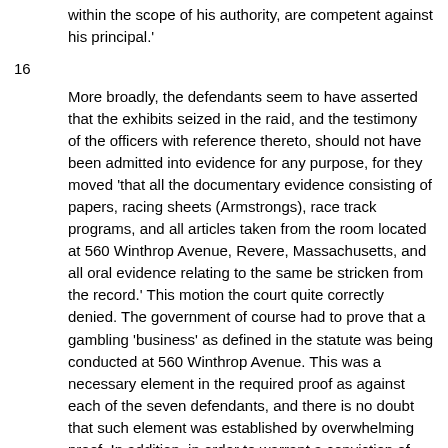within the scope of his authority, are competent against his principal.'
16
More broadly, the defendants seem to have asserted that the exhibits seized in the raid, and the testimony of the officers with reference thereto, should not have been admitted into evidence for any purpose, for they moved 'that all the documentary evidence consisting of papers, racing sheets (Armstrongs), race track programs, and all articles taken from the room located at 560 Winthrop Avenue, Revere, Massachusetts, and all oral evidence relating to the same be stricken from the record.' This motion the court quite correctly denied. The government of course had to prove that a gambling 'business' as defined in the statute was being conducted at 560 Winthrop Avenue. This was a necessary element in the required proof as against each of the seven defendants, and there is no doubt that such element was established by overwhelming proof. In addition, in order to warrant a conviction of each of the defendants of the offenses charged, the government had to satisfy the jury that each defendant, individually, was engaged in such business. The judge charged, as requested by the defense, that the 'mere fact that an individual was found in a place where papers and other objects, allegedly used in accepting wagers, were also found, is not sufficient of itself to convict the defendant of the